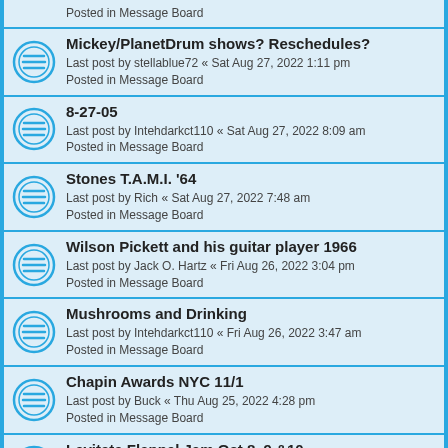Posted in Message Board
Mickey/PlanetDrum shows? Reschedules?
Last post by stellablue72 « Sat Aug 27, 2022 1:11 pm
Posted in Message Board
8-27-05
Last post by Intehdarkct110 « Sat Aug 27, 2022 8:09 am
Posted in Message Board
Stones T.A.M.I. '64
Last post by Rich « Sat Aug 27, 2022 7:48 am
Posted in Message Board
Wilson Pickett and his guitar player 1966
Last post by Jack O. Hartz « Fri Aug 26, 2022 3:04 pm
Posted in Message Board
Mushrooms and Drinking
Last post by Intehdarkct110 « Fri Aug 26, 2022 3:47 am
Posted in Message Board
Chapin Awards NYC 11/1
Last post by Buck « Thu Aug 25, 2022 4:28 pm
Posted in Message Board
Levitate Flannel Jam Oct 8, 9 &10
Last post by Buck « Tue Aug 23, 2022 9:15 am
Posted in Message Board